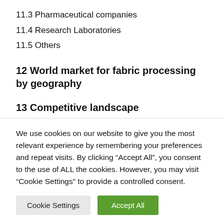11.3 Pharmaceutical companies
11.4 Research Laboratories
11.5 Others
12 World market for fabric processing by geography
13 Competitive landscape
13.1 Competitive Quadrant
13.2 Market share analysis
We use cookies on our website to give you the most relevant experience by remembering your preferences and repeat visits. By clicking “Accept All”, you consent to the use of ALL the cookies. However, you may visit “Cookie Settings” to provide a controlled consent.